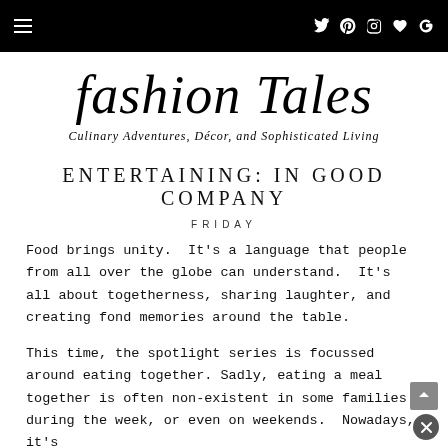fashion Tales — Culinary Adventures, Décor, and Sophisticated Living
fashion Tales
Culinary Adventures, Décor, and Sophisticated Living
ENTERTAINING: IN GOOD COMPANY
FRIDAY
Food brings unity.  It's a language that people from all over the globe can understand.  It's all about togetherness, sharing laughter, and creating fond memories around the table.
This time, the spotlight series is focussed around eating together.  Sadly, eating a meal together is often non-existent in some families during the week, or even on weekends.  Nowadays, it's